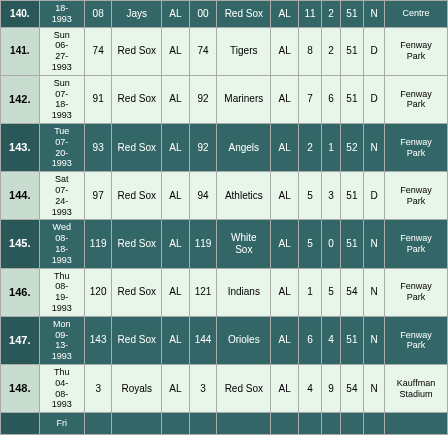| # | Date | # | Team | Lg | # | Opponent | Lg | R | RA | Att | D/N | Venue |
| --- | --- | --- | --- | --- | --- | --- | --- | --- | --- | --- | --- | --- |
| 140. | 18-1993 | 08 | Jays | AL | 00 | Red Sox | AL | 11 | 2 | 51 | N | Centre |
| 141. | Sun 06-27-1993 | 74 | Red Sox | AL | 74 | Tigers | AL | 8 | 2 | 51 | D | Fenway Park |
| 142. | Sun 07-18-1993 | 91 | Red Sox | AL | 92 | Mariners | AL | 7 | 6 | 51 | D | Fenway Park |
| 143. | Tue 07-20-1993 | 93 | Red Sox | AL | 92 | Angels | AL | 2 | 1 | 52 | N | Fenway Park |
| 144. | Sat 07-24-1993 | 97 | Red Sox | AL | 94 | Athletics | AL | 5 | 3 | 51 | D | Fenway Park |
| 145. | Wed 08-18-1993 | 119 | Red Sox | AL | 119 | White Sox | AL | 5 | 0 | 51 | N | Fenway Park |
| 146. | Thu 08-19-1993 | 120 | Red Sox | AL | 121 | Indians | AL | 1 | 5 | 54 | N | Fenway Park |
| 147. | Mon 09-13-1993 | 143 | Red Sox | AL | 144 | Orioles | AL | 6 | 4 | 51 | N | Fenway Park |
| 148. | Thu 04-08-1993 | 3 | Royals | AL | 3 | Red Sox | AL | 4 | 9 | 54 | N | Kauffman Stadium |
|  | Fri |  |  |  |  |  |  |  |  |  |  |  |